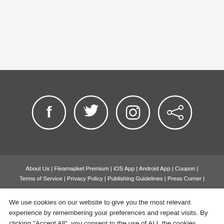[Figure (other): Dark banner with four social media icons in white circles: Facebook, Twitter, Instagram, Share]
About Us | Fleamapket Premium | iOS App | Android App | Coupon | Terms of Service | Privacy Policy | Publishing Guidelines | Press Corner |
We use cookies on our website to give you the most relevant experience by remembering your preferences and repeat visits. By clicking “Accept All”, you consent to the use of ALL the cookies. However, you may visit "Cookie Settings" to provide a controlled consent.
Cookie Settings | Accept All